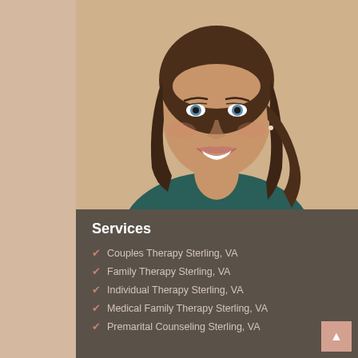[Figure (photo): Professional headshot of a woman with brown hair and blue eyes, smiling, wearing a dark teal top, against a warm beige background]
Services
Couples Therapy Sterling, VA
Family Therapy Sterling, VA
Individual Therapy Sterling, VA
Medical Family Therapy Sterling, VA
Premarital Counseling Sterling, VA